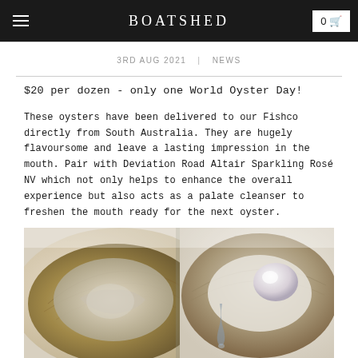BOATSHED
3RD AUG 2021  |  NEWS
$20 per dozen - only one World Oyster Day!
These oysters have been delivered to our Fishco directly from South Australia. They are hugely flavoursome and leave a lasting impression in the mouth. Pair with Deviation Road Altair Sparkling Rosé NV which not only helps to enhance the overall experience but also acts as a palate cleanser to freshen the mouth ready for the next oyster.
[Figure (photo): Close-up photograph of fresh oysters on the half shell, showing two oysters with glistening flesh, one with a small pearl-like drop, on a light background.]